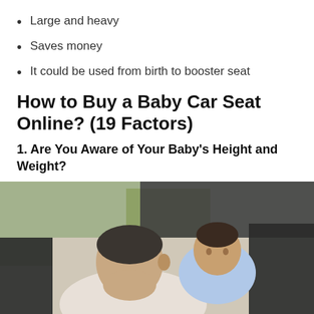Large and heavy
Saves money
It could be used from birth to booster seat
How to Buy a Baby Car Seat Online? (19 Factors)
1. Are You Aware of Your Baby's Height and Weight?
[Figure (photo): A father holding a baby near an open car door, both looking at each other outdoors.]